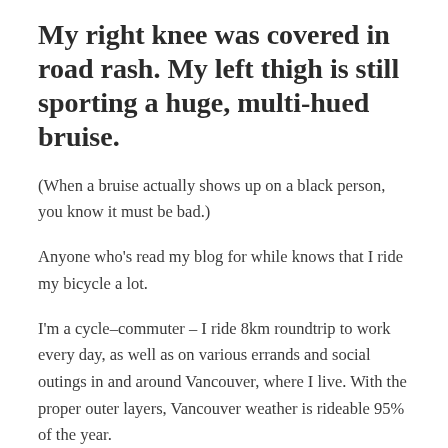My right knee was covered in road rash.  My left thigh is still sporting a huge, multi-hued bruise.
(When a bruise actually shows up on a black person, you know it must be bad.)
Anyone who's read my blog for while knows that I ride my bicycle a lot.
I'm a cycle–commuter – I ride 8km roundtrip to work every day, as well as on various errands and social outings in and around Vancouver, where I live.  With the proper outer layers, Vancouver weather is rideable 95% of the year.
But what about that last 5%?  Hailing from eastern Canada as I do,